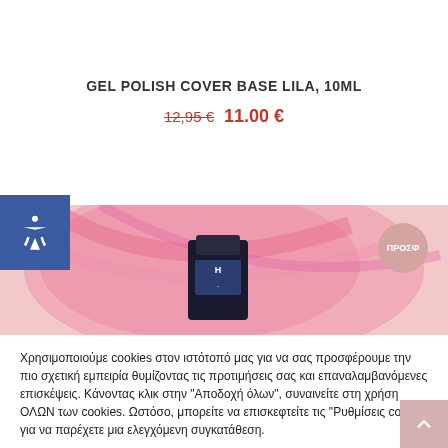GEL POLISH COVER BASE LILA, 10ML
12,95 € 11.00 €
[Figure (photo): Product image of Gel Polish Cover Base Lila nail product with pink circular background and a promotional badge labeled ΠΡΟΣΦ]
Χρησιμοποιούμε cookies στον ιστότοπό μας για να σας προσφέρουμε την πιο σχετική εμπειρία θυμίζοντας τις προτιμήσεις σας και επαναλαμβανόμενες επισκέψεις. Κάνοντας κλικ στην "Αποδοχή όλων", συναινείτε στη χρήση ΟΛΩΝ των cookies. Ωστόσο, μπορείτε να επισκεφτείτε τις "Ρυθμίσεις cookie" για να παρέχετε μια ελεγχόμενη συγκατάθεση.
Ρυθμίσεις Cookie
Αποδοχή όλων